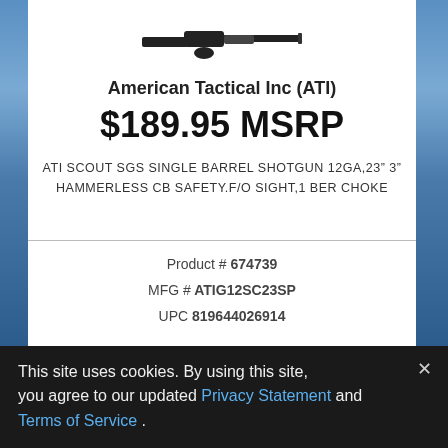[Figure (photo): Partial view of a shotgun product image at the top of a white product card, with a mountain/sky background scene on either side.]
American Tactical Inc (ATI)
$189.95 MSRP
ATI SCOUT SGS SINGLE BARREL SHOTGUN 12GA,23" 3" HAMMERLESS CB SAFETY.F/O SIGHT,1 BER CHOKE
Product # 674739
MFG # ATIG12SC23SP
UPC 819644026914
This site uses cookies. By using this site, you agree to our updated Privacy Statement and Terms of Service .